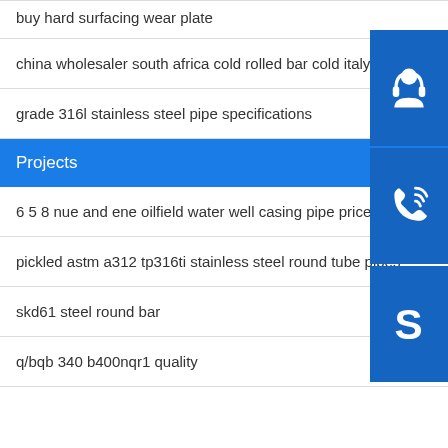buy hard surfacing wear plate
china wholesaler south africa cold rolled bar cold italy car
grade 316l stainless steel pipe specifications
Projects
6 5 8 nue and ene oilfield water well casing pipe prices
pickled astm a312 tp316ti stainless steel round tube pipes
skd61 steel round bar
q/bqb 340 b400nqr1 quality